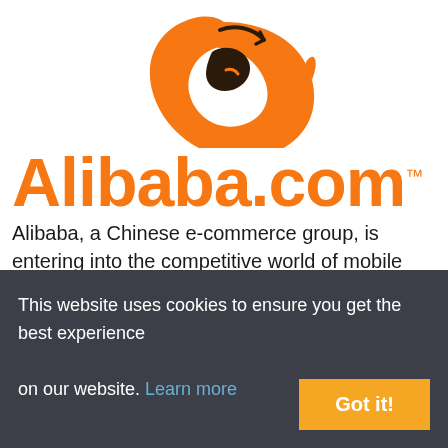[Figure (logo): Alibaba orange yin-yang style logo mark with arrow motif]
Alibaba.com™
Alibaba, a Chinese e-commerce group, is entering into the competitive world of mobile payments. The retailing group is known for their website Alibaba.com, which carries multiple options for wholesale merchandise. The company provides millions of buyers with products in consumer categories including
This website uses cookies to ensure you get the best experience on our website. Learn more
Got it!